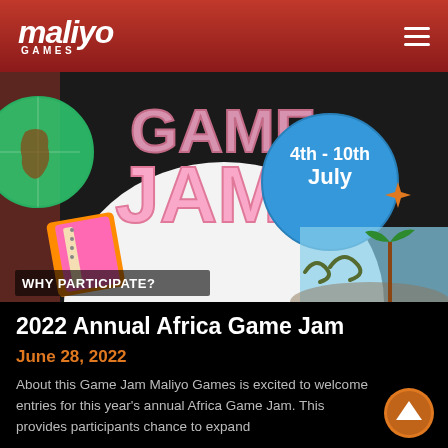maliyo GAMES
[Figure (illustration): Africa Game Jam promotional banner showing colorful game art with text 'GAME JAM', '4th - 10th July', and 'WHY PARTICIPATE?' on a dark background with illustrated game elements including a notebook, globe, and tropical scene.]
2022 Annual Africa Game Jam
June 28, 2022
About this Game Jam Maliyo Games is excited to welcome entries for this year's annual Africa Game Jam. This provides participants chance to expand